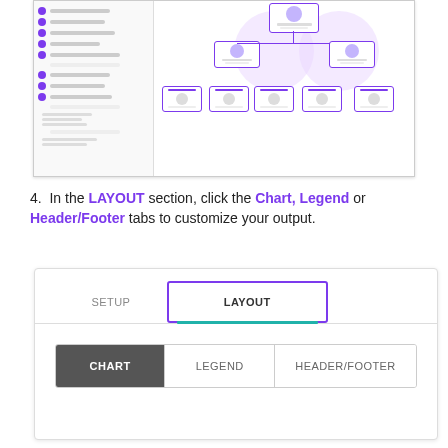[Figure (screenshot): Screenshot of an org chart software interface showing a hierarchical organizational chart with profile photos and purple accent colors, alongside a navigation panel on the left.]
4.  In the LAYOUT section, click the Chart, Legend or Header/Footer tabs to customize your output.
[Figure (screenshot): Screenshot of a UI panel showing SETUP and LAYOUT tabs (LAYOUT is highlighted with a purple border and teal underline), and below it three sub-tabs: CHART (dark gray, selected), LEGEND, and HEADER/FOOTER.]